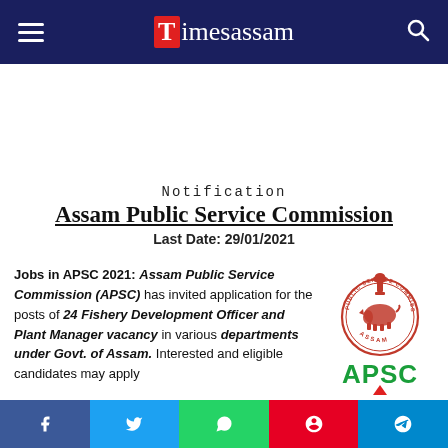Timesassam
Notification
Assam Public Service Commission
Last Date: 29/01/2021
Jobs in APSC 2021: Assam Public Service Commission (APSC) has invited application for the posts of 24 Fishery Development Officer and Plant Manager vacancy in various departments under Govt. of Assam. Interested and eligible candidates may apply
[Figure (logo): APSC (Assam Public Service Commission) official logo — circular emblem with Ashoka Pillar above a rhino, encircled by text, with large green APSC letters below]
f  Twitter  WhatsApp  Pinterest  Telegram